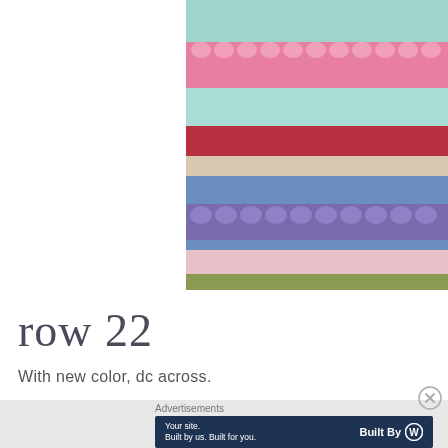[Figure (photo): Close-up of colorful crochet blanket rows in pink, light blue/mint, red, cream/beige, blue, purple, light pink, and olive/green stripes.]
row 22
With new color, dc across.
Advertisements
Your site.
Built by us. Built for you.
Built By [WordPress logo]